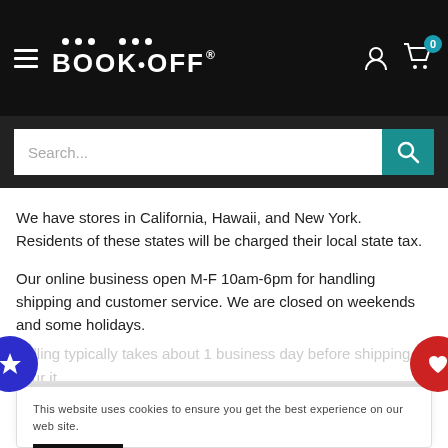[Figure (screenshot): BOOK-OFF website header with hamburger menu, logo, user icon, and cart icon with badge '0', plus search bar below]
We have stores in California, Hawaii, and New York. Residents of these states will be charged their local state tax.
Our online business open M-F 10am-6pm for handling shipping and customer service. We are closed on weekends and some holidays.
...dling typically takes about 1 business day before shipping your it...
+ View more
This website uses cookies to ensure you get the best experience on our web site.
Accept